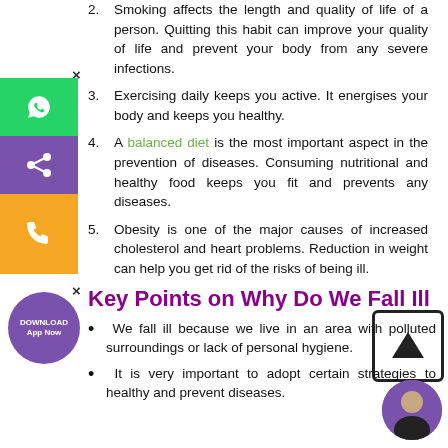Smoking affects the length and quality of life of a person. Quitting this habit can improve your quality of life and prevent your body from any severe infections.
Exercising daily keeps you active. It energises your body and keeps you healthy.
A balanced diet is the most important aspect in the prevention of diseases. Consuming nutritional and healthy food keeps you fit and prevents any diseases.
Obesity is one of the major causes of increased cholesterol and heart problems. Reduction in weight can help you get rid of the risks of being ill.
Key Points on Why Do We Fall Ill
We fall ill because we live in an area with polluted surroundings or lack of personal hygiene.
It is very important to adopt certain strategies to healthy and prevent diseases.